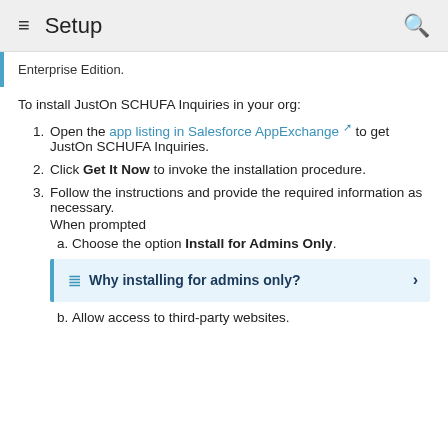Setup
Enterprise Edition.
To install JustOn SCHUFA Inquiries in your org:
1. Open the app listing in Salesforce AppExchange [external link] to get JustOn SCHUFA Inquiries.
2. Click Get It Now to invoke the installation procedure.
3. Follow the instructions and provide the required information as necessary.
When prompted
a. Choose the option Install for Admins Only.
Why installing for admins only?
b. Allow access to third-party websites.